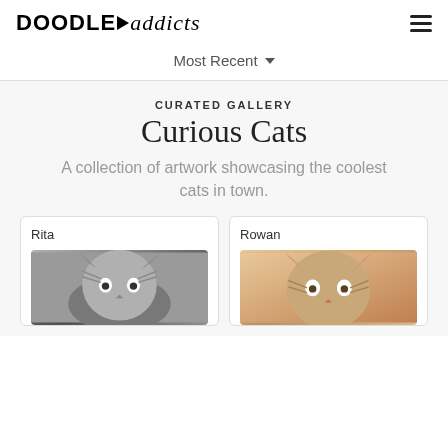DOODLE ADDICTS
Most Recent
CURATED GALLERY
Curious Cats
A collection of artwork showcasing the coolest cats in town.
Rita
[Figure (illustration): Pencil sketch of a cat named Rita, grayscale drawing]
Rowan
[Figure (illustration): Drawing of a cat named Rowan with warm beige/orange background]